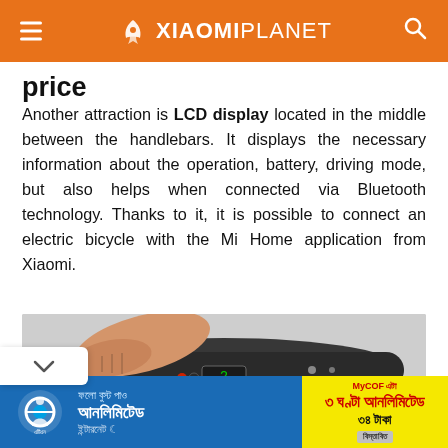XIAOMIPLANET
price
Another attraction is LCD display located in the middle between the handlebars. It displays the necessary information about the operation, battery, driving mode, but also helps when connected via Bluetooth technology. Thanks to it, it is possible to connect an electric bicycle with the Mi Home application from Xiaomi.
[Figure (photo): Closeup of electric bicycle handlebar with LCD display showing numbers, hand gripping handlebar on grey background]
[Figure (infographic): Advertisement banner for Grameenphone internet service in Bengali language, blue background with yellow highlight box showing offer details]